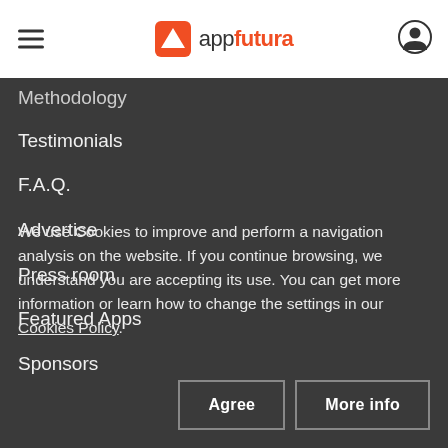appfutura
Methodology
Testimonials
F.A.Q.
Advertise
Press room
Featured Apps
Sponsors
We use Cookies to improve and perform a navigation analysis on the website. If you continue browsing, we understand you are accepting its use. You can get more information or learn how to change the settings in our Cookies Policy.